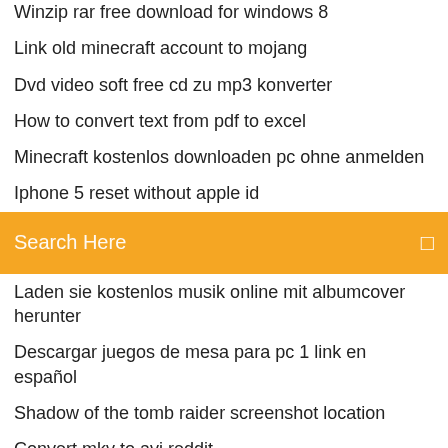Winzip rar free download for windows 8
Link old minecraft account to mojang
Dvd video soft free cd zu mp3 konverter
How to convert text from pdf to excel
Minecraft kostenlos downloaden pc ohne anmelden
Iphone 5 reset without apple id
[Figure (screenshot): Orange search bar with 'Search Here' placeholder text and a search icon on the right]
Laden sie kostenlos musik online mit albumcover herunter
Descargar juegos de mesa para pc 1 link en español
Shadow of the tomb raider screenshot location
Convert mkv to avi reddit
Samsung galaxy tab gt-p1000 price in philippines
Bruder mfc-9330cdw druckertreiber
Drivers for canon pixma mg2440 printer
Epson l220 scanner driver for windows 10
Download fast and furious 7 hindi dubbed
Bruder ql-500 treiber linux
Winzip rar free download for windows 8